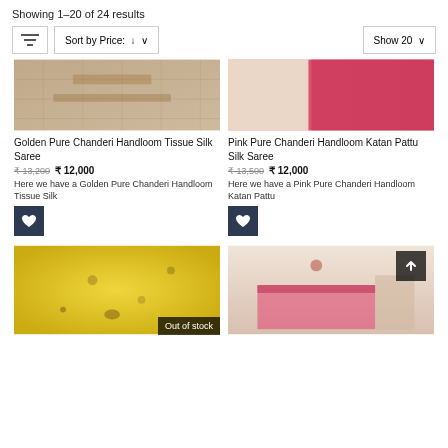Showing 1–20 of 24 results
Sort by Price: ↓ ∨   Show 20 ∨
[Figure (photo): Golden/beige fabric textile closeup photo]
Golden Pure Chanderi Handloom Tissue Silk Saree
₹13,200  ₹ 12,000
Here we have a Golden Pure Chanderi Handloom Tissue Silk
[Figure (photo): Pink fabric textile closeup photo]
Pink Pure Chanderi Handloom Katan Pattu Silk Saree
₹13,500  ₹ 12,000
Here we have a Pink Pure Chanderi Handloom Katan Pattu
[Figure (photo): Yellow sheer fabric with embroidery, Out of stock]
[Figure (photo): Pink/cream fabric with gold border and tassels]